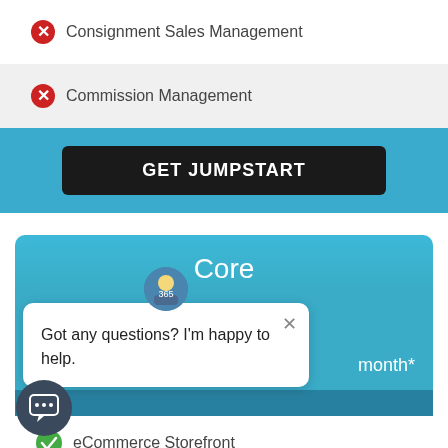✗ Consignment Sales Management
✗ Commission Management
GET JUMPSTART
Core
Got any questions? I'm happy to help.
month*
✓ eCommerce Storefront
✓ (partially visible)